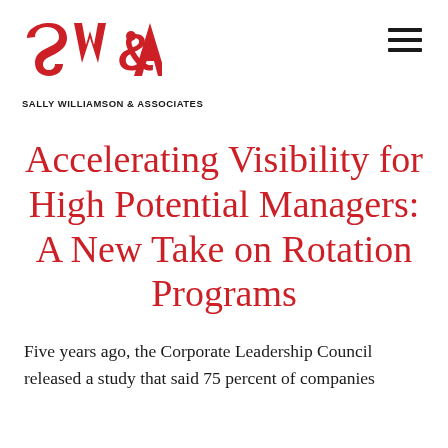[Figure (logo): Sally Williamson & Associates logo — large red stylized 'SW&A' letters with tagline 'SALLY WILLIAMSON & ASSOCIATES' below]
Accelerating Visibility for High Potential Managers: A New Take on Rotation Programs
Five years ago, the Corporate Leadership Council released a study that said 75 percent of companies